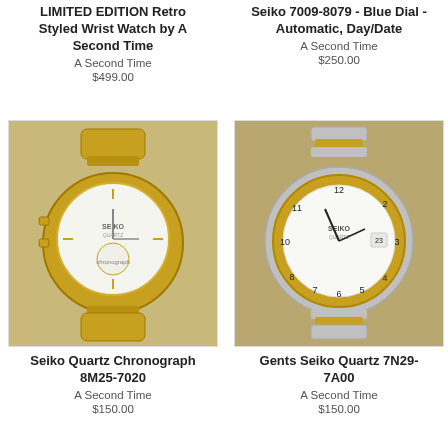LIMITED EDITION Retro Styled Wrist Watch by A Second Time
A Second Time
$499.00
Seiko 7009-8079 - Blue Dial - Automatic, Day/Date
A Second Time
$250.00
[Figure (photo): Gold-toned Seiko Quartz Chronograph 8M25-7020 watch with white dial on tan background]
[Figure (photo): Two-tone Gents Seiko Quartz 7N29-7A00 watch with white dial on tan background]
Seiko Quartz Chronograph 8M25-7020
A Second Time
$150.00
Gents Seiko Quartz 7N29-7A00
A Second Time
$150.00